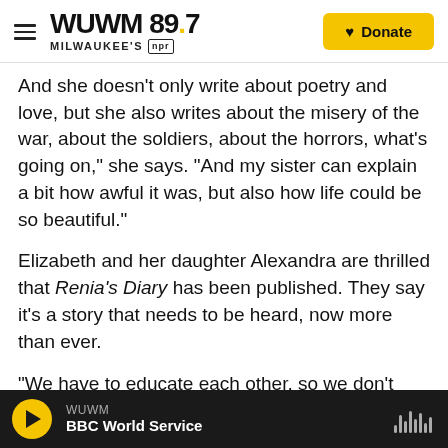WUWM 89.7 Milwaukee's NPR — Donate
And she doesn't only write about poetry and love, but she also writes about the misery of the war, about the soldiers, about the horrors, what's going on," she says. "And my sister can explain a bit how awful it was, but also how life could be so beautiful."
Elizabeth and her daughter Alexandra are thrilled that Renia's Diary has been published. They say it's a story that needs to be heard, now more than ever.
"We have to educate each other, so we don't repeat the same types of racism and prejudice and hate that lead to active violence," Alexandra Bellak says.
WUWM — BBC World Service